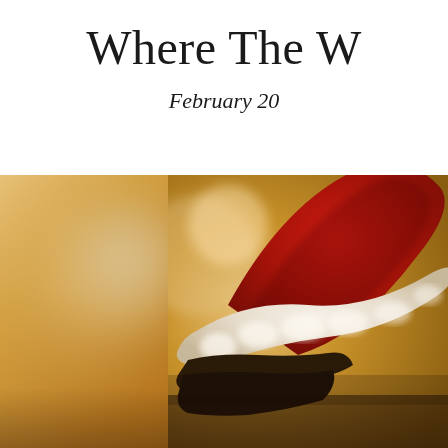Where The W
February 20
[Figure (photo): Close-up photograph of a person wearing a red and white Santa Claus hat, with a warm blurred bokeh background in amber/golden tones]